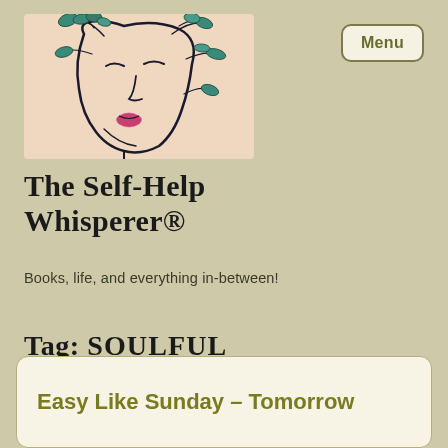[Figure (illustration): Line art illustration of a woman's face with teal/green leaves and pink lips on a peach/cream background]
The Self-Help Whisperer®
Books, life, and everything in-between!
Tag: soulful
Easy Like Sunday – Tomorrow